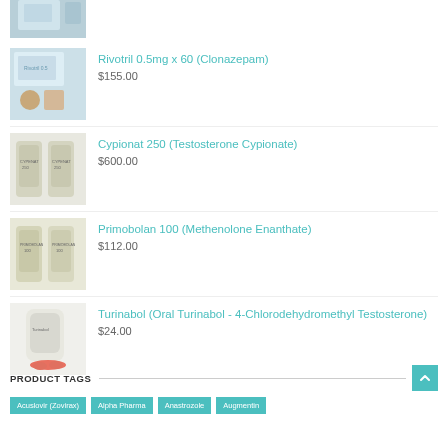[Figure (photo): Partial product image at top of page, partially cut off]
Rivotril 0.5mg x 60 (Clonazepam)
$155.00
[Figure (photo): Product photo of Cypionat 250 vials]
Cypionat 250 (Testosterone Cypionate)
$600.00
[Figure (photo): Product photo of Primobolan 100 vials]
Primobolan 100 (Methenolone Enanthate)
$112.00
[Figure (photo): Product photo of Turinabol bottle]
Turinabol (Oral Turinabol - 4-Chlorodehydromethyl Testosterone)
$24.00
PRODUCT TAGS
Acuslovir (Zovirax)
Alpha Pharma
Anastrozole
Augmentin